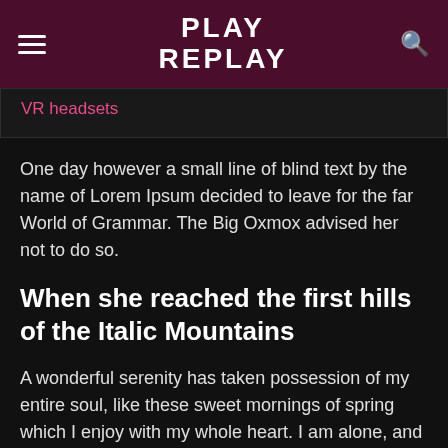PLAY REPLAY
VR headsets
One day however a small line of blind text by the name of Lorem Ipsum decided to leave for the far World of Grammar. The Big Oxmox advised her not to do so.
When she reached the first hills of the Italic Mountains
A wonderful serenity has taken possession of my entire soul, like these sweet mornings of spring which I enjoy with my whole heart. I am alone, and feel the charm of existence in this spot, which was created for the bliss of souls like m... I am so happy, my dear friend, so absorbed in the exquis